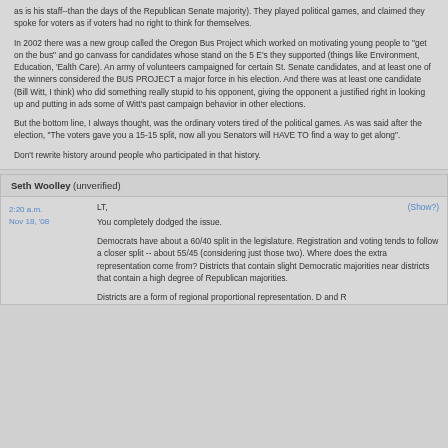as is his staff--than the days of the Republican Senate majority). They played political games, and claimed they spoke for voters as if voters had no right to think for themselves.
In 2002 there was a new group called the Oregon Bus Project which worked on motivating young people to "get on the bus" and go canvass for candidates whose stand on the 5 E's they supported (things like Environment, Education, 'Ealth Care). An army of volunteers campaigned for certain St. Senate candidates, and at least one of the winners considered the BUS PROJECT a major force in his election. And there was at least one candidate (Bill Witt, I think) who did something really stupid to his opponent, giving the opponent a justified right in looking up and putting in ads some of Witt's past campaign behavior in other elections.
But the bottom line, I always thought, was the ordinary voters tired of the political games. As was said after the election, "The voters gave you a 15-15 split, now all you Senators will HAVE TO find a way to get along".
Don't rewrite history around people who participated in that history.
Seth Woolley (unverified)
2:20 a.m.
Nov 18, '08
LT,
(Show?)
You completely dodged the issue.
Democrats have about a 60/40 split in the legislature. Registration and voting tends to follow a closer split -- about 55/45 (considering just those two). Where does the extra representation come from? Districts that contain slight Democratic majorities near districts that contain a high degree of Republican majorities.
Districts are a form of regional proportional representation. D and R...